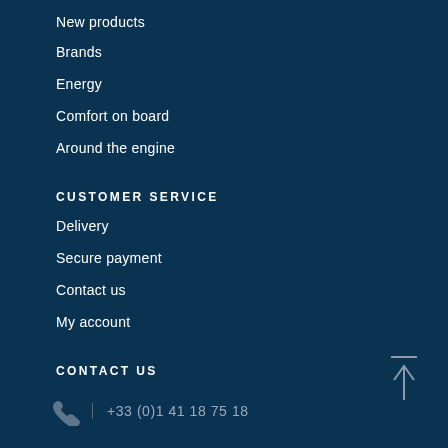New products
Brands
Energy
Comfort on board
Around the engine
CUSTOMER SERVICE
Delivery
Secure payment
Contact us
My account
CONTACT US
+33 (0)1 41 18 75 18